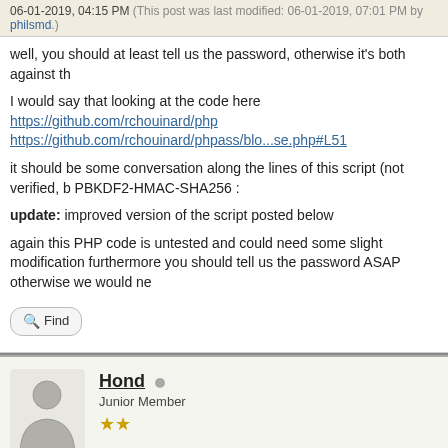06-01-2019, 04:15 PM (This post was last modified: 06-01-2019, 07:01 PM by philsmd.)
well, you should at least tell us the password, otherwise it's both against th
I would say that looking at the code here https://github.com/rchouinard/php https://github.com/rchouinard/phpass/blo...se.php#L51
it should be some conversation along the lines of this script (not verified, b PBKDF2-HMAC-SHA256 :
update: improved version of the script posted below
again this PHP code is untested and could need some slight modification furthermore you should tell us the password ASAP otherwise we would ne
Find
Hond
Junior Member
06-01-2019, 05:53 PM (This post was last modified: 06-01-2019, 07:39 PM by Hond.)
I do not have the full password no more, it's probably something like [reda The codebase is currently being restored from the HDD by a specialized c
https://github.com/rchouinard/phpass/com...c7fc21ff49